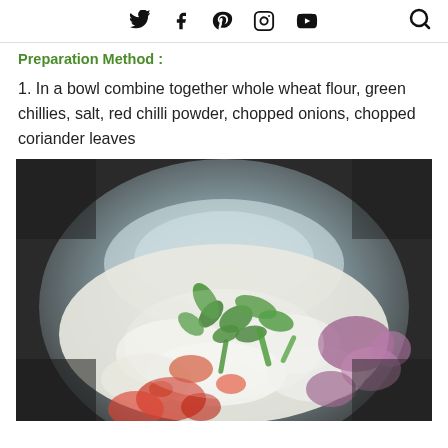social media icons: twitter, facebook, pinterest, instagram, youtube, search
Preparation Method :
1.  In a bowl combine together whole wheat flour, green chillies, salt, red chilli powder, chopped onions, chopped coriander leaves
[Figure (photo): Overhead view of a steel bowl with whole wheat flour, chopped green coriander leaves, red chilli powder, chopped onions, and other spices combined together.]